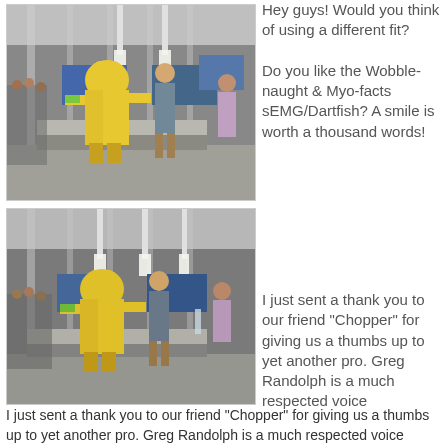[Figure (photo): Photo of people at a trade show booth, one person wearing a yellow Pikachu costume, inside an exhibition hall with display screens and modern furniture.]
Hey guys! Would you think of using a different fit?

Do you like the Wobble-naught & Myo-facts sEMG/Dartfish? A smile is worth a thousand words!
[Figure (photo): Second photo of the same trade show scene, same people with the yellow Pikachu costume, similar angle.]
I just sent a thank you to our friend "Chopper" for giving us a thumbs up to yet another pro. Greg Randolph is a much respected voice